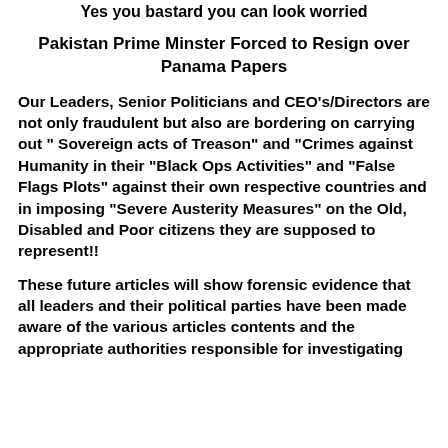Yes you bastard you can look worried
Pakistan Prime Minster Forced to Resign over Panama Papers
Our Leaders, Senior Politicians and CEO’s/Directors are not only fraudulent but also are bordering on carrying out “ Sovereign acts of Treason” and “Crimes against Humanity in their “Black Ops Activities” and “False Flags Plots” against their own respective countries and in imposing “Severe Austerity Measures” on the Old, Disabled and Poor citizens they are supposed to represent!!
These future articles will show forensic evidence that all leaders and their political parties have been made aware of the various articles contents and the appropriate authorities responsible for investigating